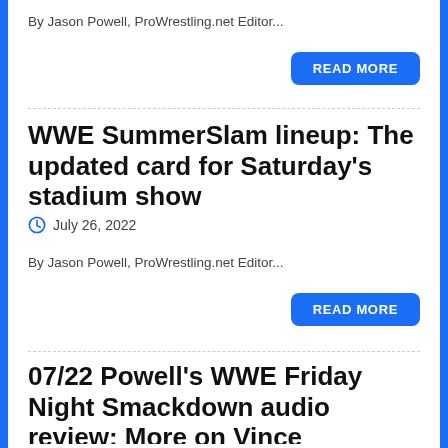By Jason Powell, ProWrestling.net Editor...
READ MORE
WWE SummerSlam lineup: The updated card for Saturday's stadium show
July 26, 2022
By Jason Powell, ProWrestling.net Editor...
READ MORE
07/22 Powell's WWE Friday Night Smackdown audio review: More on Vince McMahon's retirement,